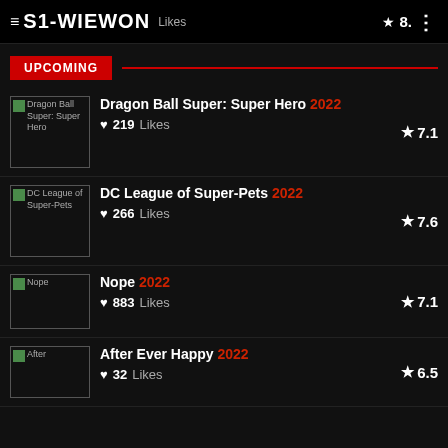S1-WIEWON | Likes | ★ 8.
UPCOMING
Dragon Ball Super: Super Hero 2022 | ♥219 Likes | ★ 7.1
DC League of Super-Pets 2022 | ♥266 Likes | ★ 7.6
Nope 2022 | ♥883 Likes | ★ 7.1
After Ever Happy 2022 | ♥32 Likes | ★ 6.5